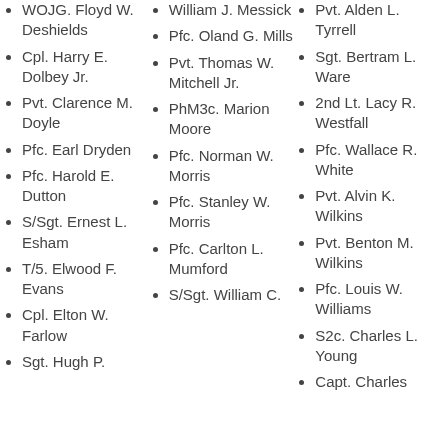WOJG. Floyd W. Deshields
Cpl. Harry E. Dolbey Jr.
Pvt. Clarence M. Doyle
Pfc. Earl Dryden
Pfc. Harold E. Dutton
S/Sgt. Ernest L. Esham
T/5. Elwood F. Evans
Cpl. Elton W. Farlow
Sgt. Hugh P.
William J. Messick
Pfc. Oland G. Mills
Pvt. Thomas W. Mitchell Jr.
PhM3c. Marion Moore
Pfc. Norman W. Morris
Pfc. Stanley W. Morris
Pfc. Carlton L. Mumford
S/Sgt. William C.
Pvt. Alden L. Tyrrell
Sgt. Bertram L. Ware
2nd Lt. Lacy R. Westfall
Pfc. Wallace R. White
Pvt. Alvin K. Wilkins
Pvt. Benton M. Wilkins
Pfc. Louis W. Williams
S2c. Charles L. Young
Capt. Charles